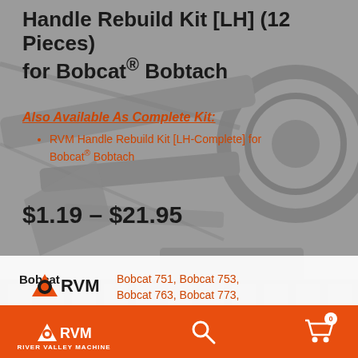Handle Rebuild Kit [LH] (12 Pieces) for Bobcat® Bobtach
Also Available As Complete Kit:
RVM Handle Rebuild Kit [LH-Complete] for Bobcat® Bobtach
$1.19 – $21.95
|  |  |
| --- | --- |
| Bobcat | Bobcat 751, Bobcat 753, Bobcat 763, Bobcat 773, Bobcat 863, Bobcat 864, Bobcat 873, Bobcat 883, Bobcat 963, Bobcat A220 (All-Wheel Steer), Bobcat A300 (All-Wheel Steer), Bobcat A770 (All-Wheel... |
[Figure (logo): RVM River Valley Machine logo with orange triangle icon]
RIVER VALLEY MACHINE